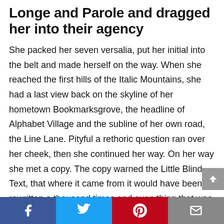Longe and Parole and dragged her into their agency
She packed her seven versalia, put her initial into the belt and made herself on the way. When she reached the first hills of the Italic Mountains, she had a last view back on the skyline of her hometown Bookmarksgrove, the headline of Alphabet Village and the subline of her own road, the Line Lane. Pityful a rethoric question ran over her cheek, then she continued her way. On her way she met a copy. The copy warned the Little Blind Text, that where it came from it would have been rewritten a thousand times and everything that was left from its origin would be the word “and” and the Little Blind Text should turn